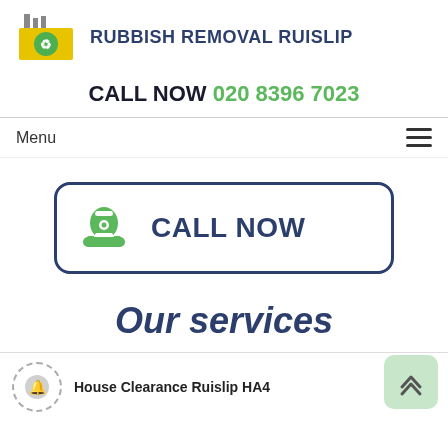[Figure (logo): Rubbish Removal Ruislip logo: yellow factory/building with green recycling symbol and dark chimney on top, next to bold dark blue text RUBBISH REMOVAL RUISLIP]
CALL NOW 020 8396 7023
Menu
[Figure (other): CALL NOW button with green telephone icon on the left and bold dark blue CALL NOW text, inside a rounded rectangle border]
Our services
House Clearance Ruislip HA4